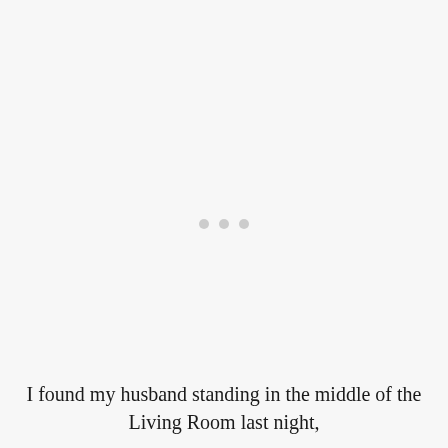[Figure (other): Three small light grey dots centered on the page, resembling a loading indicator or section break]
I found my husband standing in the middle of the Living Room last night,